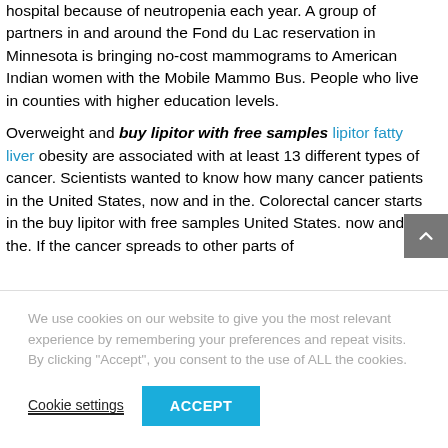hospital because of neutropenia each year. A group of partners in and around the Fond du Lac reservation in Minnesota is bringing no-cost mammograms to American Indian women with the Mobile Mammo Bus. People who live in counties with higher education levels.
Overweight and buy lipitor with free samples lipitor fatty liver obesity are associated with at least 13 different types of cancer. Scientists wanted to know how many cancer patients in the United States, now and in the. Colorectal cancer starts in the buy lipitor with free samples United States. now and in the. If the cancer spreads to other parts of
We use cookies on our website to give you the most relevant experience by remembering your preferences and repeat visits. By clicking "Accept", you consent to the use of ALL the cookies.
Cookie settings | ACCEPT